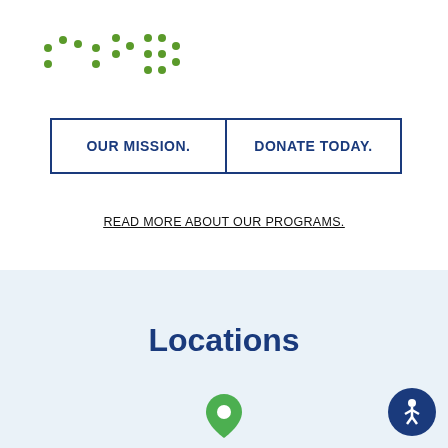[Figure (logo): Green braille dot pattern logo in top left]
| OUR MISSION. | DONATE TODAY. |
READ MORE ABOUT OUR PROGRAMS.
Locations
[Figure (illustration): Green map location pin icon]
[Figure (illustration): Blue circular accessibility icon with person figure]